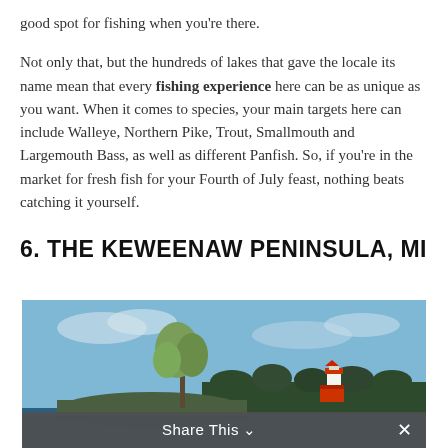good spot for fishing when you're there. Not only that, but the hundreds of lakes that gave the locale its name mean that every fishing experience here can be as unique as you want. When it comes to species, your main targets here can include Walleye, Northern Pike, Trout, Smallmouth and Largemouth Bass, as well as different Panfish. So, if you're in the market for fresh fish for your Fourth of July feast, nothing beats catching it yourself.
6. THE KEWEENAW PENINSULA, MI
[Figure (photo): Scenic coastal photo showing a lone tree on a rocky shoreline with a lighthouse in the background and blue sky with clouds, at the Keweenaw Peninsula, MI.]